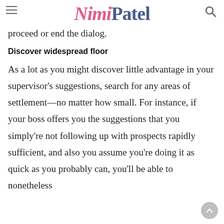NimiPatel
proceed or end the dialog.
Discover widespread floor
As a lot as you might discover little advantage in your supervisor's suggestions, search for any areas of settlement—no matter how small. For instance, if your boss offers you the suggestions that you simply're not following up with prospects rapidly sufficient, and also you assume you're doing it as quick as you probably can, you'll be able to nonetheless